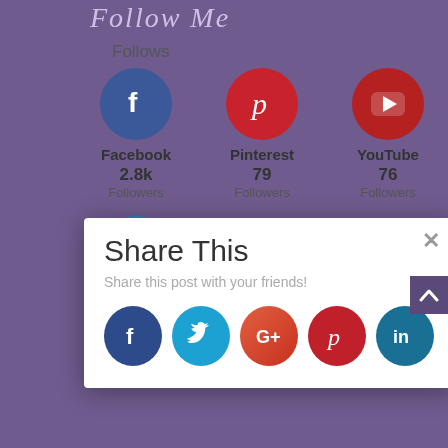Follow Me
Follows
[Figure (infographic): Social media follow counts: Facebook 2.8k Followers, Pinterest 79 Followers, YouTube 76 Followers, LinkedIn 500+ Followers]
Share This
Share this post with your friends!
[Figure (infographic): Share buttons: Facebook, Twitter, Google+, Pinterest, LinkedIn]